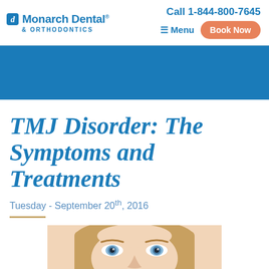Monarch Dental & Orthodontics | Call 1-844-800-7645 | Menu | Book Now
[Figure (photo): Blue banner/hero image area]
TMJ Disorder: The Symptoms and Treatments
Tuesday - September 20th, 2016
[Figure (photo): Close-up photo of a woman's face with blonde hair and blue eyes, appearing to have jaw discomfort]